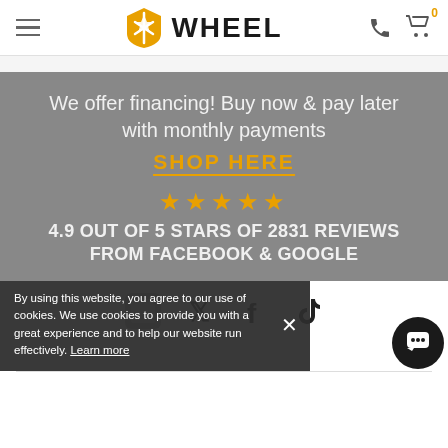WHEEL - navigation header with logo, hamburger menu, phone icon, and cart
[Figure (screenshot): Gray banner with financing offer text, SHOP HERE link, 5 stars, and review count]
We offer financing! Buy now & pay later with monthly payments
SHOP HERE
★★★★★ 4.9 OUT OF 5 STARS OF 2831 REVIEWS FROM FACEBOOK & GOOGLE
By using this website, you agree to our use of cookies. We use cookies to provide you with a great experience and to help our website run effectively. Learn more
[Figure (logo): Social media icons: X (Twitter), Facebook f, TikTok logo visible on right side]
[Figure (other): Chat bubble icon bottom right]